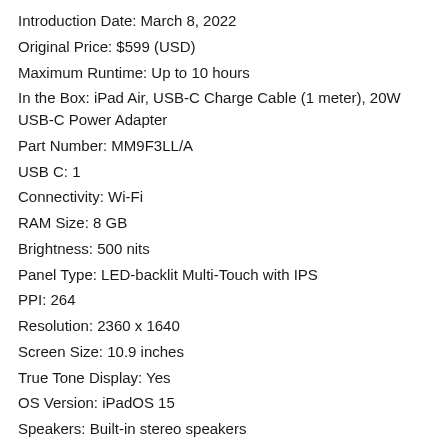Introduction Date: March 8, 2022
Original Price: $599 (USD)
Maximum Runtime: Up to 10 hours
In the Box: iPad Air, USB-C Charge Cable (1 meter), 20W USB-C Power Adapter
Part Number: MM9F3LL/A
USB C: 1
Connectivity: Wi-Fi
RAM Size: 8 GB
Brightness: 500 nits
Panel Type: LED-backlit Multi-Touch with IPS
PPI: 264
Resolution: 2360 x 1640
Screen Size: 10.9 inches
True Tone Display: Yes
OS Version: iPadOS 15
Speakers: Built-in stereo speakers
Storage Capacity: 64 GB